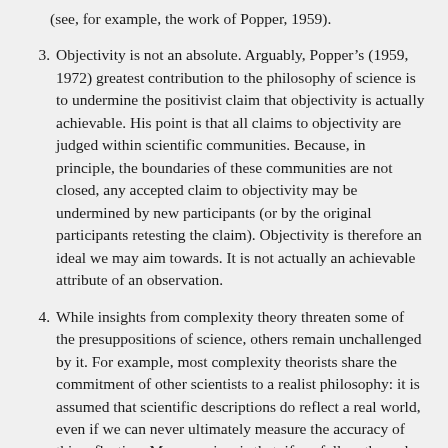(see, for example, the work of Popper, 1959).
3. Objectivity is not an absolute. Arguably, Popper’s (1959, 1972) greatest contribution to the philosophy of science is to undermine the positivist claim that objectivity is actually achievable. His point is that all claims to objectivity are judged within scientific communities. Because, in principle, the boundaries of these communities are not closed, any accepted claim to objectivity may be undermined by new participants (or by the original participants retesting the claim). Objectivity is therefore an ideal we may aim towards. It is not actually an achievable attribute of an observation.
4. While insights from complexity theory threaten some of the presuppositions of science, others remain unchallenged by it. For example, most complexity theorists share the commitment of other scientists to a realist philosophy: it is assumed that scientific descriptions do reflect a real world, even if we can never ultimately measure the accuracy of this reflection. My own view is that, if we follow through some of the implications of complexity theory and systems thinking to their logical conclusions, the relatively naïve realism that is